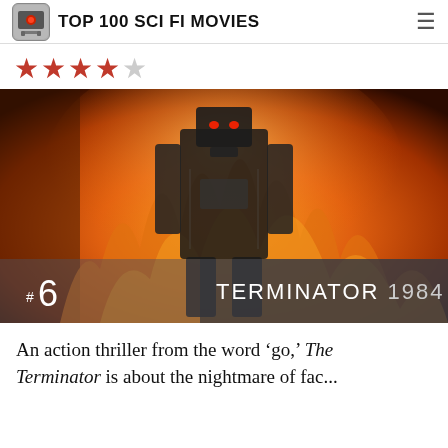TOP 100 SCI FI MOVIES
★★★★☆
[Figure (photo): A metallic robot endoskeleton (Terminator) standing amid fire and flames in an orange-lit scene.]
#6 TERMINATOR 1984
An action thriller from the word 'go,' The Terminator is about the nightmare of fac...